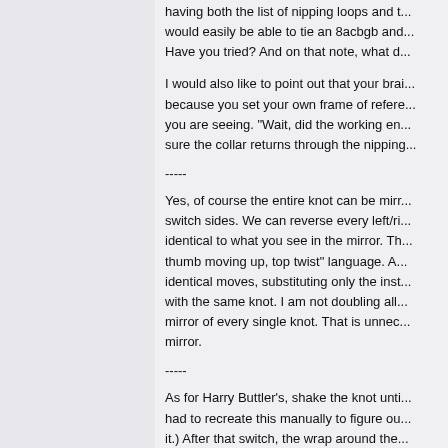having both the list of nipping loops and t... would easily be able to tie an 8acbgb and... Have you tried?  And on that note, what d...
I would also like to point out that your brai... because you set your own frame of refere... you are seeing.  "Wait, did the working en... sure the collar returns through the nipping...
-----
Yes, of course the entire knot can be mirr... switch sides.  We can reverse every left/ri... identical to what you see in the mirror.  Th... thumb moving up, top twist" language.  A... identical moves, substituting only the inst... with the same knot.  I am not doubling all... mirror of every single knot.  That is unnec... mirror.
-----
As for Harry Buttler's, shake the knot unti... had to recreate this manually to figure ou... it.)  After that switch, the wrap around the... counterpart, as well.  The resulting knot is...